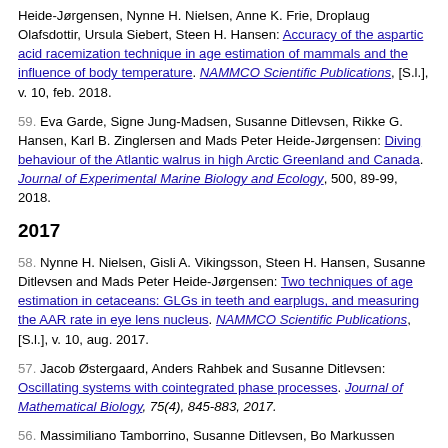Heide-Jørgensen, Nynne H. Nielsen, Anne K. Frie, Droplaug Olafsdottir, Ursula Siebert, Steen H. Hansen: Accuracy of the aspartic acid racemization technique in age estimation of mammals and the influence of body temperature. NAMMCO Scientific Publications, [S.l.], v. 10, feb. 2018.
59. Eva Garde, Signe Jung-Madsen, Susanne Ditlevsen, Rikke G. Hansen, Karl B. Zinglersen and Mads Peter Heide-Jørgensen: Diving behaviour of the Atlantic walrus in high Arctic Greenland and Canada. Journal of Experimental Marine Biology and Ecology, 500, 89-99, 2018.
2017
58. Nynne H. Nielsen, Gisli A. Vikingsson, Steen H. Hansen, Susanne Ditlevsen and Mads Peter Heide-Jørgensen: Two techniques of age estimation in cetaceans: GLGs in teeth and earplugs, and measuring the AAR rate in eye lens nucleus. NAMMCO Scientific Publications, [S.l.], v. 10, aug. 2017.
57. Jacob Østergaard, Anders Rahbek and Susanne Ditlevsen: Oscillating systems with cointegrated phase processes. Journal of Mathematical Biology, 75(4), 845-883, 2017.
56. Massimiliano Tamborrino, Susanne Ditlevsen, Bo Markussen...